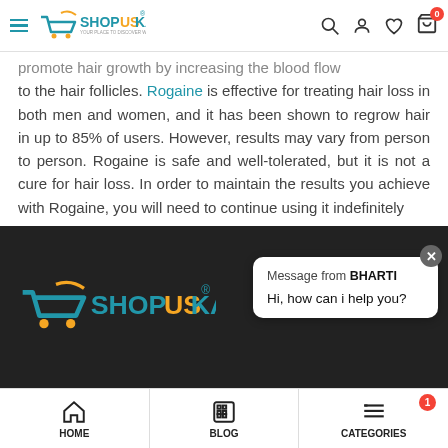ShopUsKart header with logo, search, user, wishlist, cart icons
promote hair growth by increasing the blood flow to the hair follicles. Rogaine is effective for treating hair loss in both men and women, and it has been shown to regrow hair in up to 85% of users. However, results may vary from person to person. Rogaine is safe and well-tolerated, but it is not a cure for hair loss. In order to maintain the results you achieve with Rogaine, you will need to continue using it indefinitely
[Figure (screenshot): Chat popup from BHARTI saying Hi, how can i help you?]
[Figure (logo): ShopUsKart footer logo on dark background]
HOME | BLOG | CATEGORIES navigation bar with badge 1 on CATEGORIES